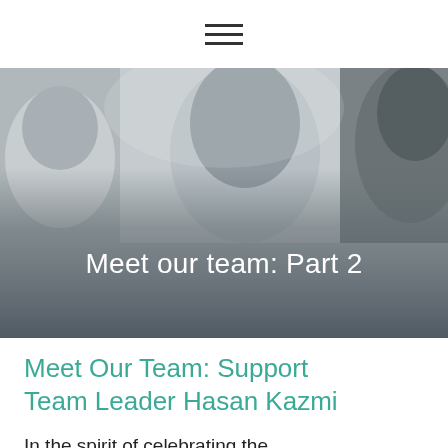☰
[Figure (photo): Hero banner image showing two people's faces (cropped to eyes/foreheads) against a grey/white blurred background, with a dark gradient overlay at the bottom containing the text 'Meet our team: Part 2']
Meet our team: Part 2
Meet Our Team: Support Team Leader Hasan Kazmi
In the spirit of celebrating the